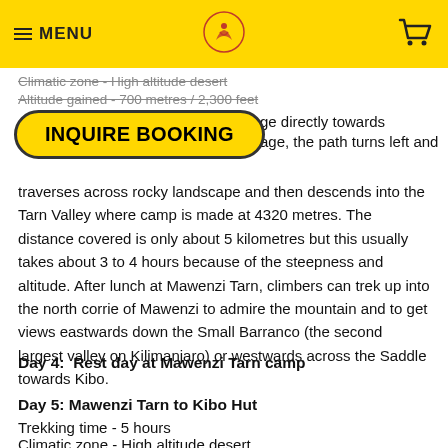MENU | [logo] | [cart]
Climatic zone - High altitude desert
Altitude gained - 700 metres / 2,300 feet
INQUIRE BOOKING
ge directly towards age, the path turns left and traverses across rocky landscape and then descends into the Tarn Valley where camp is made at 4320 metres. The distance covered is only about 5 kilometres but this usually takes about 3 to 4 hours because of the steepness and altitude. After lunch at Mawenzi Tarn, climbers can trek up into the north corrie of Mawenzi to admire the mountain and to get views eastwards down the Small Barranco (the second largest valley on Kilimanjaro) or westwards across the Saddle towards Kibo.
Day 4:  Rest day at Mawenzi Tarn camp
Day 5: Mawenzi Tarn to Kibo Hut
Trekking time - 5 hours
Climatic zone - High altitude desert